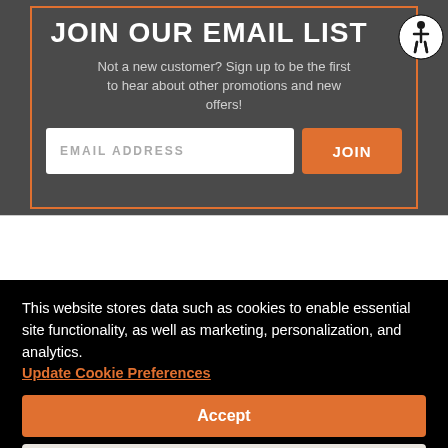JOIN OUR EMAIL LIST
Not a new customer? Sign up to be the first to hear about other promotions and new offers!
This website stores data such as cookies to enable essential site functionality, as well as marketing, personalization, and analytics. Update Cookie Preferences
Accept
Deny